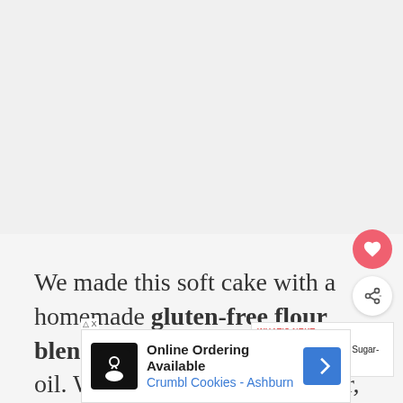[Figure (photo): Light gray/white blank area at the top of the page, representing an image placeholder or off-screen image area]
We made this soft cake with a homemade gluten-free flour blend, ripe bananas, and vegetable oil. We used almond milk, flour, and almond essence to give the cake a wo... finish. we...
[Figure (screenshot): WHAT'S NEXT panel with a small thumbnail of cupcakes and text '{Gluten-Free, Sugar-Free}...']
[Figure (screenshot): Online Ordering Available advertisement banner for Crumbl Cookies - Ashburn with a chef icon and navigation arrow]